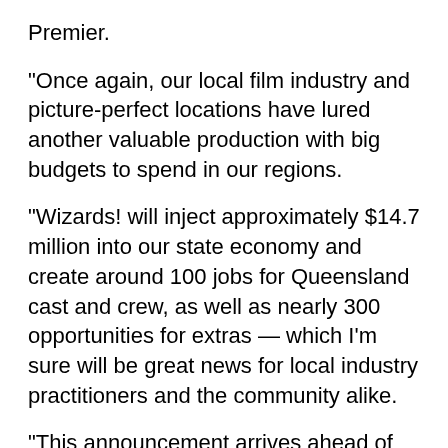Premier.
“Once again, our local film industry and picture-perfect locations have lured another valuable production with big budgets to spend in our regions.
“Wizards! will inject approximately $14.7 million into our state economy and create around 100 jobs for Queensland cast and crew, as well as nearly 300 opportunities for extras — which I’m sure will be great news for local industry practitioners and the community alike.
“This announcement arrives ahead of next month’s global releases; Baz Luhrmann’s Elvis and Netflix’s Spiderhead starring Chris